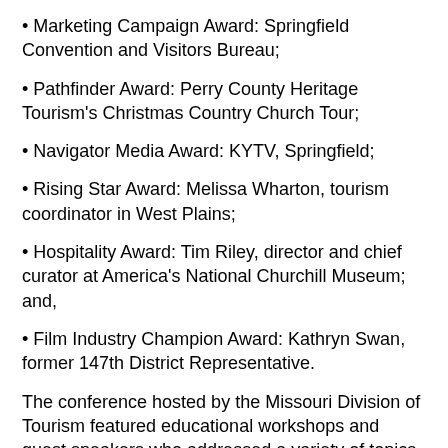Marketing Campaign Award: Springfield Convention and Visitors Bureau;
Pathfinder Award: Perry County Heritage Tourism's Christmas Country Church Tour;
Navigator Media Award: KYTV, Springfield;
Rising Star Award: Melissa Wharton, tourism coordinator in West Plains;
Hospitality Award: Tim Riley, director and chief curator at America's National Churchill Museum; and,
Film Industry Champion Award: Kathryn Swan, former 147th District Representative.
The conference hosted by the Missouri Division of Tourism featured educational workshops and guest speakers who addressed a variety of topics relevant to the tourism industry. In fiscal year 2020, Missouri welcomed 36.3 million visitors and saw a $14.5 billion economic impact.